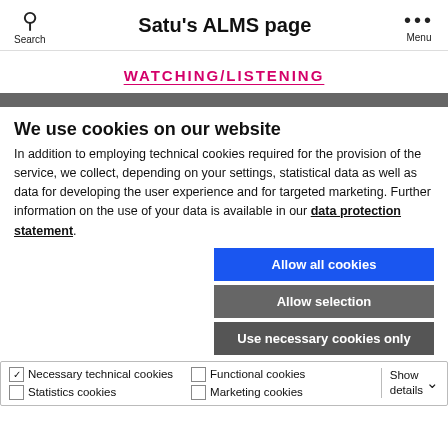Search | Satu's ALMS page | Menu
WATCHING/LISTENING
We use cookies on our website
In addition to employing technical cookies required for the provision of the service, we collect, depending on your settings, statistical data as well as data for developing the user experience and for targeted marketing. Further information on the use of your data is available in our data protection statement.
Allow all cookies
Allow selection
Use necessary cookies only
Necessary technical cookies | Functional cookies | Statistics cookies | Marketing cookies | Show details